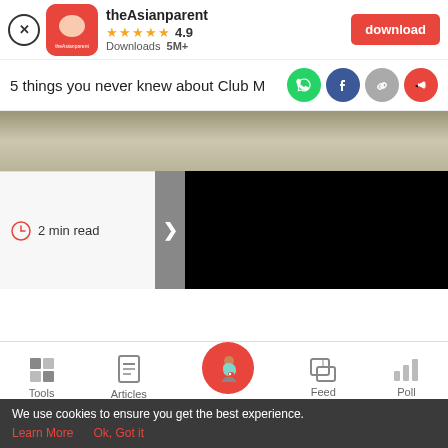[Figure (screenshot): theAsianparent app banner with close button, app icon, star rating 4.9, Downloads 5M+, and red download button]
5 things you never knew about Club M
[Figure (screenshot): Website screenshot showing hero gradient image area, arrow navigation button, black content area panel, 2 min read indicator, bottom navigation bar with Tools, Articles, home (pregnant woman icon), Feed, Poll tabs, and cookie consent bar]
We use cookies to ensure you get the best experience.
Learn More   Ok, Got it